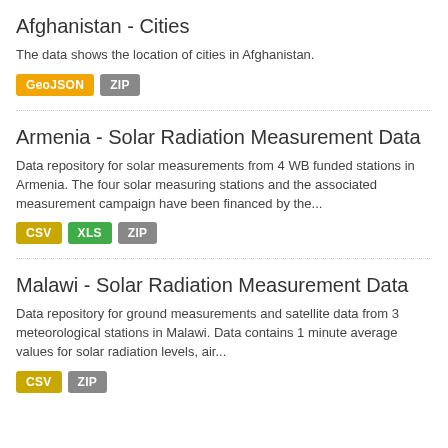Afghanistan - Cities
The data shows the location of cities in Afghanistan.
GeoJSON  ZIP
Armenia - Solar Radiation Measurement Data
Data repository for solar measurements from 4 WB funded stations in Armenia. The four solar measuring stations and the associated measurement campaign have been financed by the...
CSV  XLS  ZIP
Malawi - Solar Radiation Measurement Data
Data repository for ground measurements and satellite data from 3 meteorological stations in Malawi. Data contains 1 minute average values for solar radiation levels, air...
CSV  ZIP